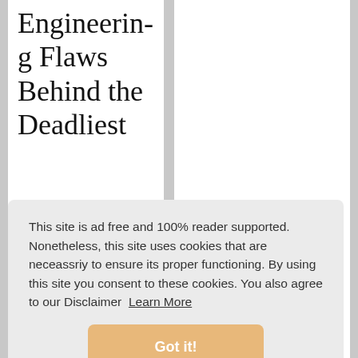Engineering Flaws Behind the Deadliest
This site is ad free and 100% reader supported. Nonetheless, this site uses cookies that are neceassriy to ensure its proper functioning. By using this site you consent to these cookies. You also agree to our Disclaimer  Learn More
Got it!